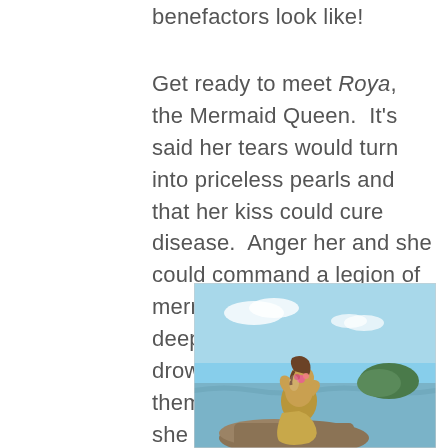benefactors look like!
Get ready to meet Roya, the Mermaid Queen.  It's said her tears would turn into priceless pearls and that her kiss could cure disease.  Anger her and she could command a legion of mermaids to take humans deep beneath the sea, drown them and then eat them.  What do you think she would look like?
[Figure (photo): A bronze mermaid statue sitting on rocks by the sea, holding flowers, with a green island visible in the background under a blue sky.]